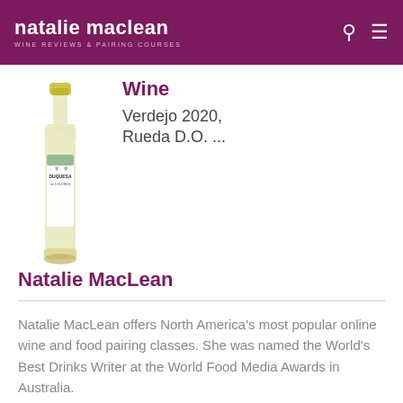natalie maclean — WINE REVIEWS & PAIRING COURSES
Wine
Verdejo 2020, Rueda D.O. ...
[Figure (photo): Wine bottle labeled Duquesa, white wine]
Natalie MacLean
Natalie MacLean offers North America's most popular online wine and food pairing classes. She was named the World's Best Drinks Writer at the World Food Media Awards in Australia.
Natalie has published two books with